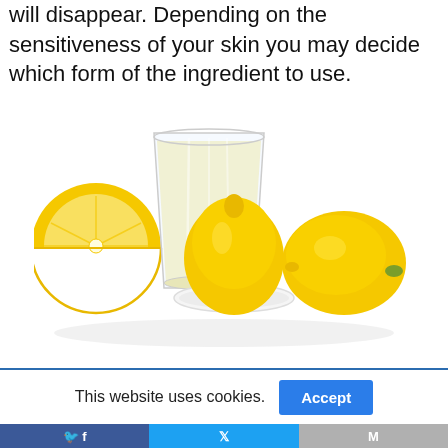will disappear. Depending on the sensitiveness of your skin you may decide which form of the ingredient to use.
[Figure (photo): A glass of lemon juice with lemons and a lemon squeezer on a white background. Shows a half lemon on the left, a glass of pale lemon juice in the center-back, a lemon being pressed on a white juicer in the center-front, and a whole lemon on the right.]
This website uses cookies.
[Figure (screenshot): Cookie consent bar with Accept button and social media sharing buttons for Facebook, Twitter, and Gmail/Mail]